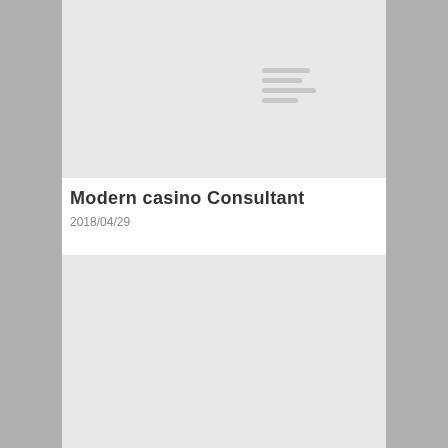[Figure (illustration): Placeholder image block with gray background and horizontal lines suggesting text]
Modern casino Consultant
2018/04/29
[Figure (illustration): Placeholder image block with gray background and horizontal lines suggesting text]